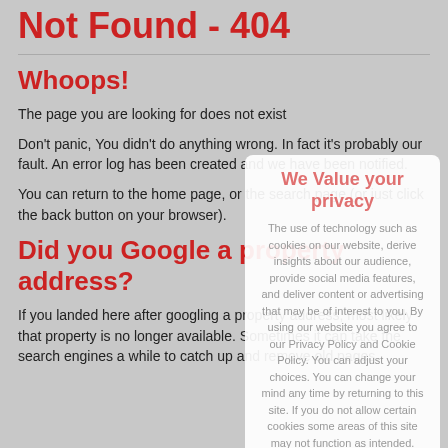Not Found - 404
Whoops!
The page you are looking for does not exist
Don't panic, You didn't do anything wrong. In fact it's probably our fault. An error log has been created and we have been notified.
You can return to the home page, or the search page (or just click the back button on your browser).
Did you Google a property address?
If you landed here after googling a property address, most likely that property is no longer available. Sometimes it can take the search engines a while to catch up and remove old pages.
We Value your privacy

The use of technology such as cookies on our website, derive insights about our audience, provide social media features, and deliver content or advertising that may be of interest to you. By using our website you agree to our Privacy Policy and Cookie Policy. You can adjust your choices. You can change your mind any time by returning to this site. If you do not allow certain cookies some areas of this site may not function as intended.